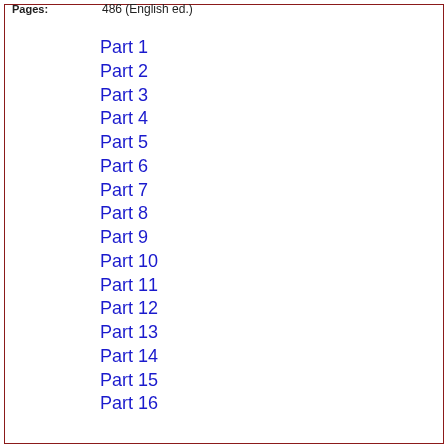Pages: 486 (English ed.)
Part 1
Part 2
Part 3
Part 4
Part 5
Part 6
Part 7
Part 8
Part 9
Part 10
Part 11
Part 12
Part 13
Part 14
Part 15
Part 16